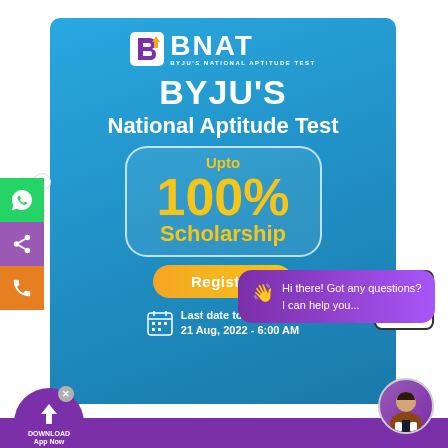[Figure (infographic): BYJU'S National Aptitude Test (BNAT) promotional banner on blue background. Shows BNAT logo, 'BYJU'S National Aptitude Test' heading, 'Upto 100% Scholarship' offer in gold text inside rounded border, Register button, and last date to register: 21 Aug, 2022 - 6:00 AM. Overlays include a purple chat bubble 'Hi there! Got any questions? I can help you...', sidebar social icons (WhatsApp, share, phone), a download app button, and an avatar circle.]